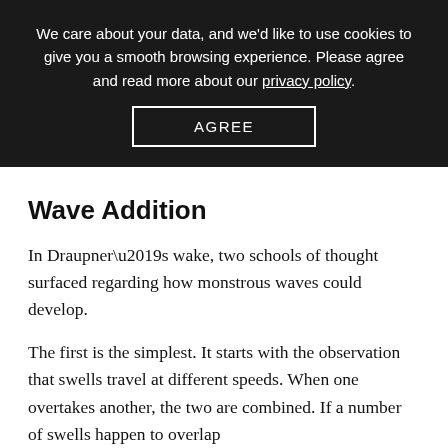We care about your data, and we'd like to use cookies to give you a smooth browsing experience. Please agree and read more about our privacy policy.
AGREE
Wave Addition
In Draupner’s wake, two schools of thought surfaced regarding how monstrous waves could develop.
The first is the simplest. It starts with the observation that swells travel at different speeds. When one overtakes another, the two are combined. If a number of swells happen to overlap